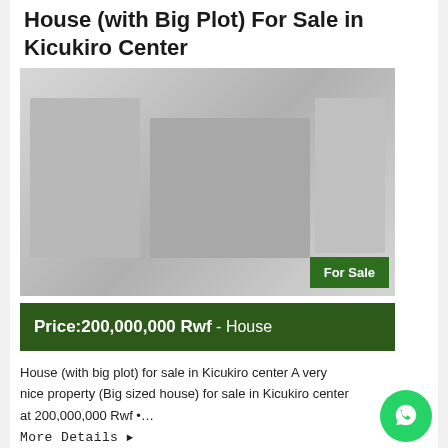House (with Big Plot) For Sale in Kicukiro Center
[Figure (photo): Exterior photo of a house property for sale in Kicukiro Center, with a 'For Sale' badge in the bottom right corner]
Price:200,000,000 Rwf  -  House
House (with big plot) for sale in Kicukiro center A very nice property (Big sized house) for sale in Kicukiro center at 200,000,000 Rwf •…
More Details ▶